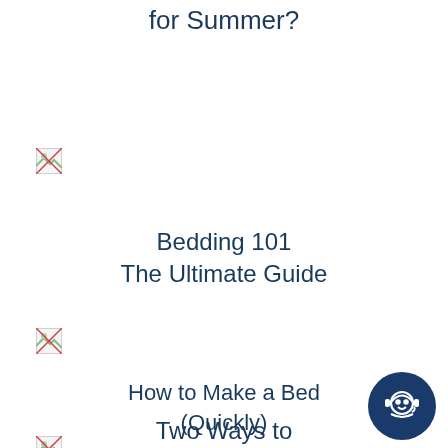for Summer?
[Figure (illustration): Broken/placeholder image icon top left]
Bedding 101
The Ultimate Guide
[Figure (illustration): Broken/placeholder image icon middle left]
How to Make a Bed
(Quickly)
[Figure (illustration): Broken/placeholder image icon lower left]
[Figure (illustration): Dark blue circle with headset/face icon, bottom right corner]
Two Ways to